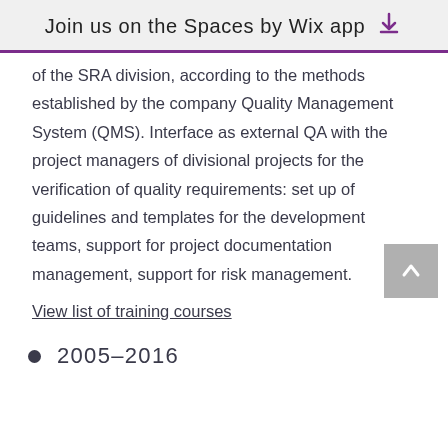Join us on the Spaces by Wix app
of the SRA division, according to the methods established by the company Quality Management System (QMS). Interface as external QA with the project managers of divisional projects for the verification of quality requirements: set up of guidelines and templates for the development teams, support for project documentation management, support for risk management.
View list of training courses
2005–2016